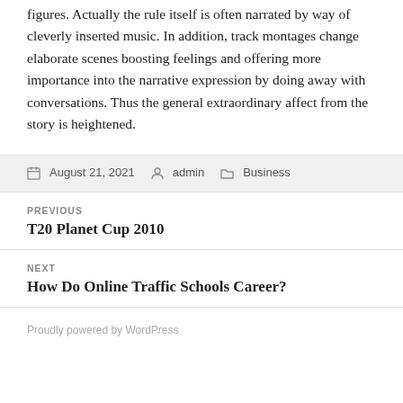figures. Actually the rule itself is often narrated by way of cleverly inserted music. In addition, track montages change elaborate scenes boosting feelings and offering more importance into the narrative expression by doing away with conversations. Thus the general extraordinary affect from the story is heightened.
Posted on August 21, 2021  Author admin  Categories Business
Previous
T20 Planet Cup 2010
Next
How Do Online Traffic Schools Career?
Proudly powered by WordPress